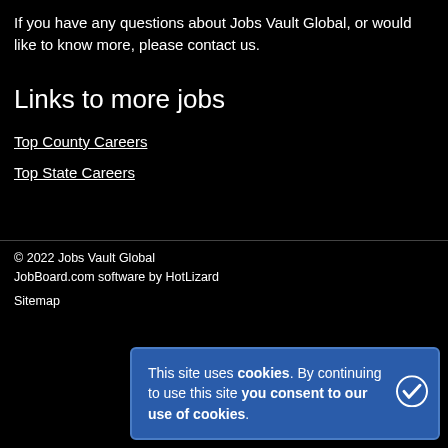If you have any questions about Jobs Vault Global, or would like to know more, please contact us.
Links to more jobs
Top County Careers
Top State Careers
© 2022 Jobs Vault Global
JobBoard.com software by HotLizard

Sitemap
This site uses cookies. By continuing to use this site you consent to our use of cookies.